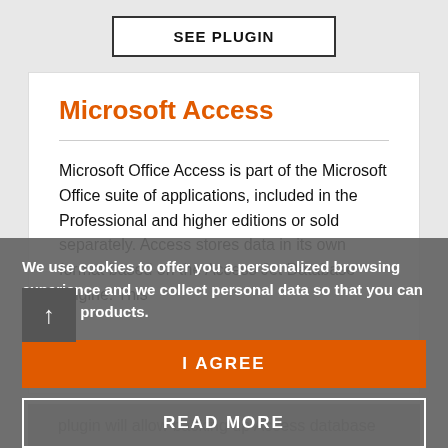SEE PLUGIN
Microsoft Access
Microsoft Office Access is part of the Microsoft Office suite of applications, included in the Professional and higher editions or sold separately. Access stores data in its own format based on the Access Jet Database Engine. This plugin will allow backing up Access database
We use cookies to offer you a personalized browsing experience and we collect personal data so that you can use our products.
I AGREE
READ MORE